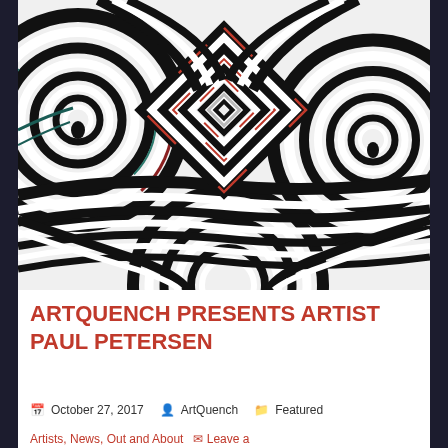[Figure (illustration): Abstract op-art style digital illustration featuring swirling black and white concentric rings/spirals with eye-like circular forms in the corners and a central diamond/square tunnel perspective motif with red and teal accents.]
ARTQUENCH PRESENTS ARTIST PAUL PETERSEN
October 27, 2017   ArtQuench   Featured Artists, News, Out and About   Leave a